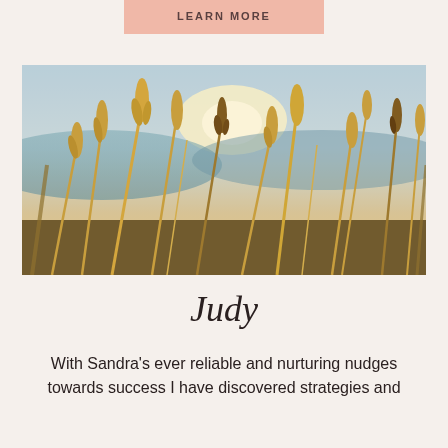LEARN MORE
[Figure (photo): Close-up photograph of golden wheat or grass stalks with seed heads against a warm sunset sky with blue-teal distant hills in the background. The light is warm and golden.]
Judy
With Sandra's ever reliable and nurturing nudges towards success I have discovered strategies and